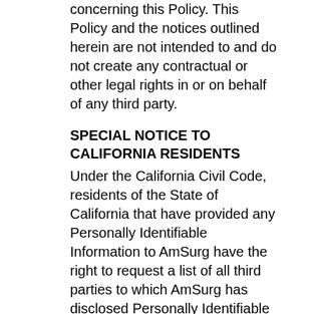concerning this Policy. This Policy and the notices outlined herein are not intended to and do not create any contractual or other legal rights in or on behalf of any third party.
SPECIAL NOTICE TO CALIFORNIA RESIDENTS
Under the California Civil Code, residents of the State of California that have provided any Personally Identifiable Information to AmSurg have the right to request a list of all third parties to which AmSurg has disclosed Personally Identifiable Information during the preceding year for direct marketing purposes. Alternatively, the law provides that if AmSurg has a privacy policy that gives either an opt-out or opt-in choice for use of Personally Identifiable Information by third parties (such as advertisers or affiliated companies) for